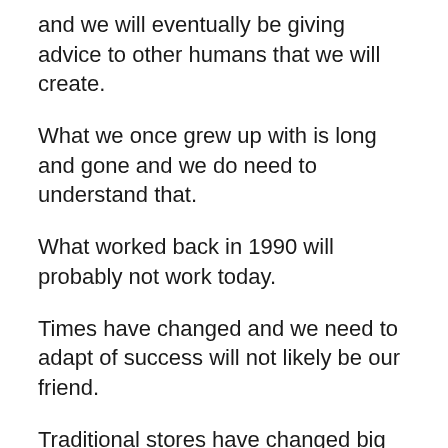and we will eventually be giving advice to other humans that we will create.
What we once grew up with is long and gone and we do need to understand that.
What worked back in 1990 will probably not work today.
Times have changed and we need to adapt of success will not likely be our friend.
Traditional stores have changed big time and that’s the first thing we need to understand.
When you see stores like Toys R’ Us and other big names closing, you can bet that the way we make money has as well.